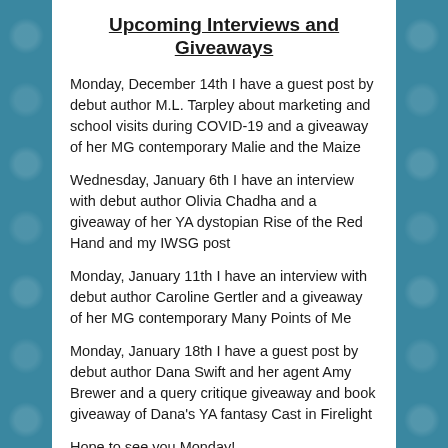Upcoming Interviews and Giveaways
Monday, December 14th I have a guest post by debut author M.L. Tarpley about marketing and school visits during COVID-19 and a giveaway of her MG contemporary Malie and the Maize
Wednesday, January 6th I have an interview with debut author Olivia Chadha and a giveaway of her YA dystopian Rise of the Red Hand and my IWSG post
Monday, January 11th I have an interview with debut author Caroline Gertler and a giveaway of her MG contemporary Many Points of Me
Monday, January 18th I have a guest post by debut author Dana Swift and her agent Amy Brewer and a query critique giveaway and book giveaway of Dana's YA fantasy Cast in Firelight
Hope to see you Monday!
Here are all the other blogs participating in this blog